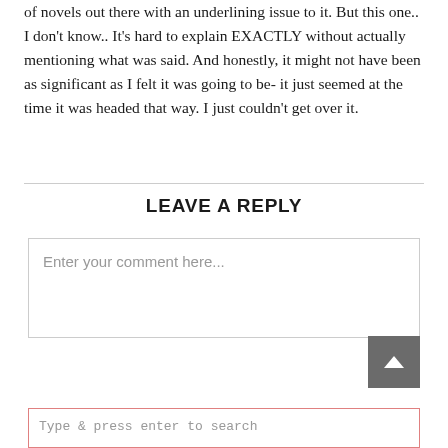of novels out there with an underlining issue to it. But this one.. I don't know.. It's hard to explain EXACTLY without actually mentioning what was said. And honestly, it might not have been as significant as I felt it was going to be- it just seemed at the time it was headed that way. I just couldn't get over it.
LEAVE A REPLY
Enter your comment here...
Type & press enter to search